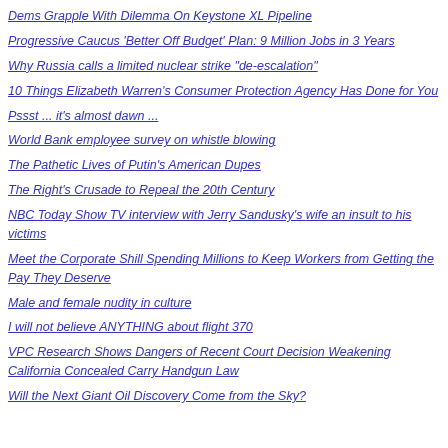Dems Grapple With Dilemma On Keystone XL Pipeline
Progressive Caucus 'Better Off Budget' Plan: 9 Million Jobs in 3 Years
Why Russia calls a limited nuclear strike "de-escalation"
10 Things Elizabeth Warren's Consumer Protection Agency Has Done for You
Pssst ... it's almost dawn ...
World Bank employee survey on whistle blowing
The Pathetic Lives of Putin's American Dupes
The Right's Crusade to Repeal the 20th Century
NBC Today Show TV interview with Jerry Sandusky's wife an insult to his victims
Meet the Corporate Shill Spending Millions to Keep Workers from Getting the Pay They Deserve
Male and female nudity in culture
I will not believe ANYTHING about flight 370
VPC Research Shows Dangers of Recent Court Decision Weakening California Concealed Carry Handgun Law
Will the Next Giant Oil Discovery Come from the Sky?